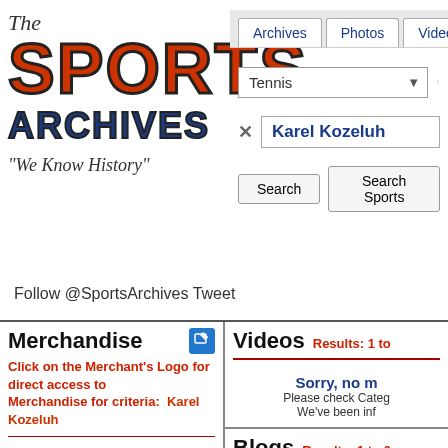[Figure (logo): The Sports Archives logo with 'The' in italic script, 'SPORTS' in large red block letters, 'ARCHIVES' in blue block letters, and tagline 'We Know History' in italic]
[Figure (screenshot): Navigation tabs: Archives, Photos, Video, Audio; dropdown selector showing Tennis with chevron; runner icon; search field with X button showing Karel Kozeluh; Search button; Search Sports button]
Follow @SportsArchives Tweet
Merchandise
Click on the Merchant's Logo for direct access to Merchandise for criteria:  Karel Kozeluh
[Figure (logo): Grandstand logo - circular badge with blue background and text GRANDSTAND]
Videos
Results: 1 to
Sorry, no m
Please check Categ
We've been inf
Blogs
Results: 1 to 0